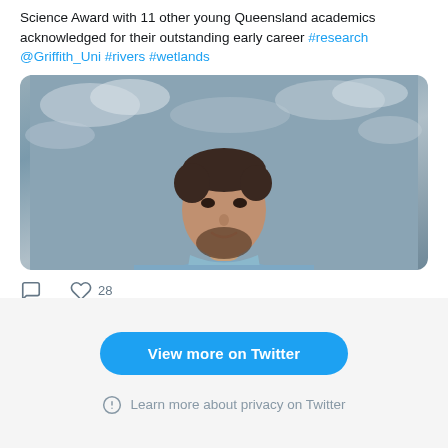Science Award with 11 other young Queensland academics acknowledged for their outstanding early career #research @Griffith_Uni #rivers #wetlands
[Figure (photo): Portrait photo of a young man with short brown hair and a beard, wearing a light blue denim shirt, photographed against a cloudy grey-blue sky background.]
28 likes
View more on Twitter
Learn more about privacy on Twitter